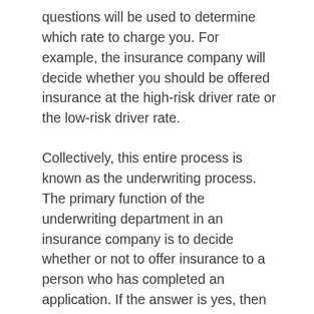questions will be used to determine which rate to charge you. For example, the insurance company will decide whether you should be offered insurance at the high-risk driver rate or the low-risk driver rate.
Collectively, this entire process is known as the underwriting process. The primary function of the underwriting department in an insurance company is to decide whether or not to offer insurance to a person who has completed an application. If the answer is yes, then the underwriting department seeks to determine the "quality" of that risk so that the proper premium can be charged. That is, high-risk people should pay more than low-risk people.